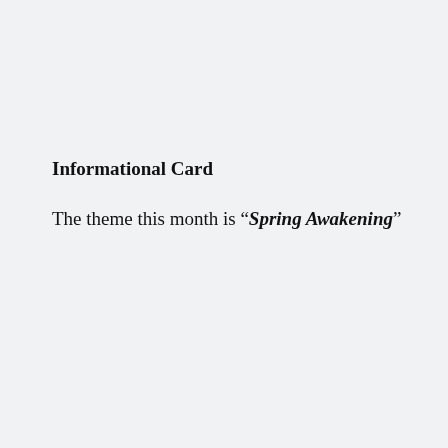Informational Card
The theme this month is “Spring Awakening”